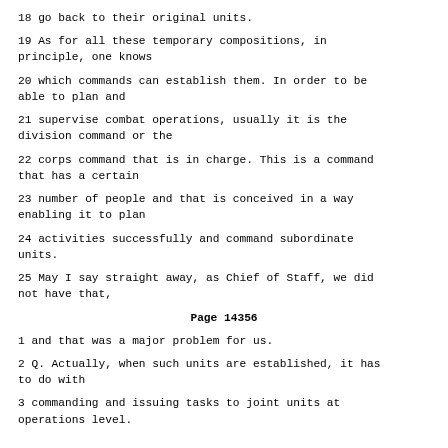18 go back to their original units.
19 As for all these temporary compositions, in principle, one knows
20 which commands can establish them. In order to be able to plan and
21 supervise combat operations, usually it is the division command or the
22 corps command that is in charge. This is a command that has a certain
23 number of people and that is conceived in a way enabling it to plan
24 activities successfully and command subordinate units.
25 May I say straight away, as Chief of Staff, we did not have that,
Page 14356
1 and that was a major problem for us.
2 Q. Actually, when such units are established, it has to do with
3 commanding and issuing tasks to joint units at operations level.